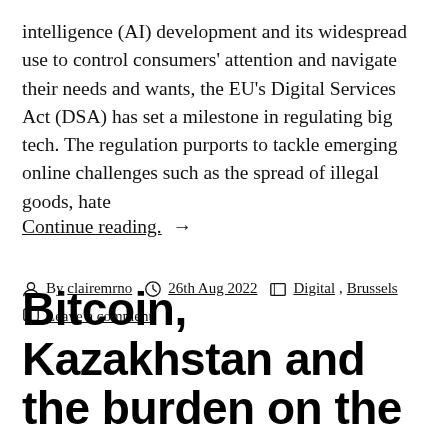intelligence (AI) development and its widespread use to control consumers' attention and navigate their needs and wants, the EU's Digital Services Act (DSA) has set a milestone in regulating big tech. The regulation purports to tackle emerging online challenges such as the spread of illegal goods, hate
Continue reading. →
By clairemrno  26th Aug 2022  Digital, Brussels  Leave a comment
Bitcoin, Kazakhstan and the burden on the